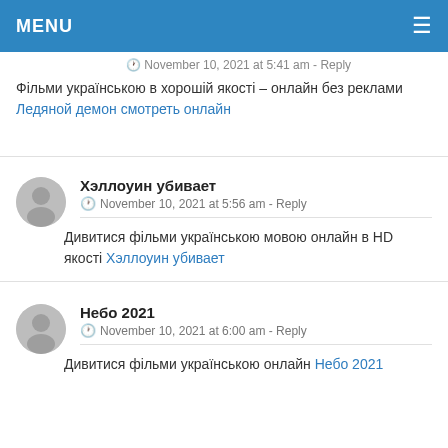MENU
November 10, 2021 at 5:41 am - Reply
Фільми українською в хорошій якості – онлайн без реклами Ледяной демон смотреть онлайн
Хэллоуин убивает
November 10, 2021 at 5:56 am - Reply
Дивитися фільми українською мовою онлайн в HD якості Хэллоуин убивает
Небо 2021
November 10, 2021 at 6:00 am - Reply
Дивитися фільми українською онлайн Небо 2021